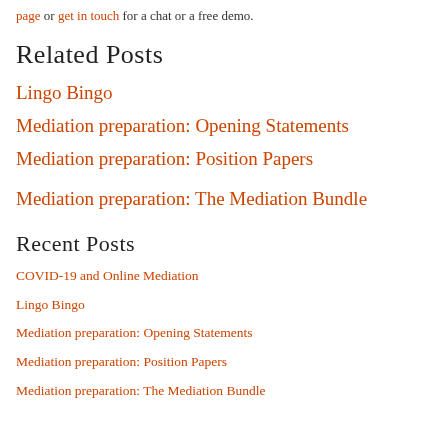page or get in touch for a chat or a free demo.
Related Posts
Lingo Bingo
Mediation preparation: Opening Statements
Mediation preparation: Position Papers
Mediation preparation: The Mediation Bundle
Recent Posts
COVID-19 and Online Mediation
Lingo Bingo
Mediation preparation: Opening Statements
Mediation preparation: Position Papers
Mediation preparation: The Mediation Bundle